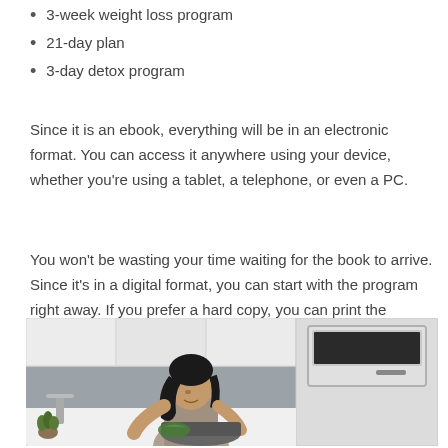3-week weight loss program
21-day plan
3-day detox program
Since it is an ebook, everything will be in an electronic format. You can access it anywhere using your device, whether you’re using a tablet, a telephone, or even a PC.
You won’t be wasting your time waiting for the book to arrive. Since it’s in a digital format, you can start with the program right away. If you prefer a hard copy, you can print the manual.
[Figure (photo): A woman with dark hair cooking in a modern white kitchen, leaning over a pot or pan on the counter, with white cabinets above and a microwave/oven unit visible on the right side.]